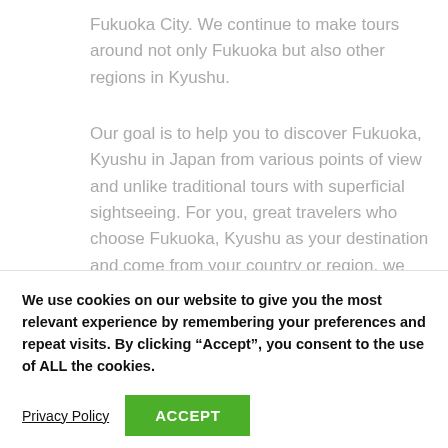Fukuoka City. We continue to make tours around not only Fukuoka but also other regions in Kyushu.
Our goal is to help you to discover Fukuoka, Kyushu in Japan from various points of view and unlike traditional tours with superficial sightseeing. For you, great travelers who choose Fukuoka, Kyushu as your destination and come from your country or region, we want to provide
We use cookies on our website to give you the most relevant experience by remembering your preferences and repeat visits. By clicking “Accept”, you consent to the use of ALL the cookies.
Privacy Policy
ACCEPT